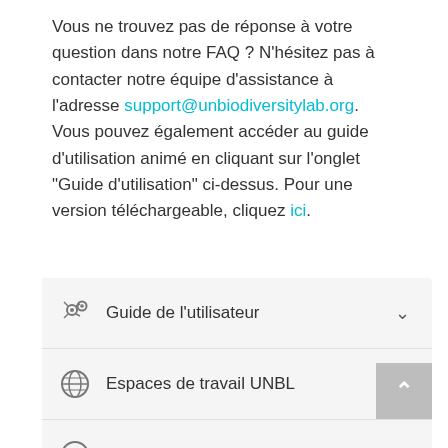Vous ne trouvez pas de réponse à votre question dans notre FAQ ? N'hésitez pas à contacter notre équipe d'assistance à l'adresse support@unbiodiversitylab.org. Vous pouvez également accéder au guide d'utilisation animé en cliquant sur l'onglet "Guide d'utilisation" ci-dessus. Pour une version téléchargeable, cliquez ici.
Guide de l'utilisateur
Espaces de travail UNBL
Contribuez à